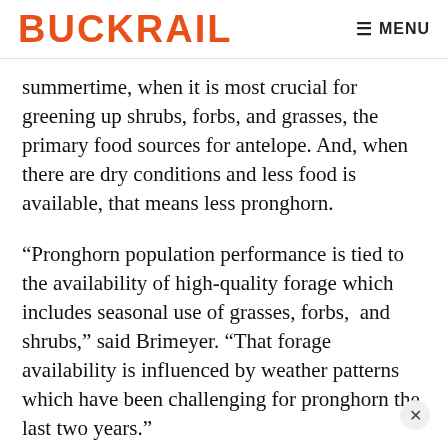BUCKRAIL   ≡ MENU
summertime, when it is most crucial for greening up shrubs, forbs, and grasses, the primary food sources for antelope. And, when there are dry conditions and less food is available, that means less pronghorn.
“Pronghorn population performance is tied to the availability of high-quality forage which includes seasonal use of grasses, forbs,  and shrubs,” said Brimeyer. “That forage availability is influenced by weather patterns which have been challenging for pronghorn the last two years.”
Sometimes, the timing of moisture can be too